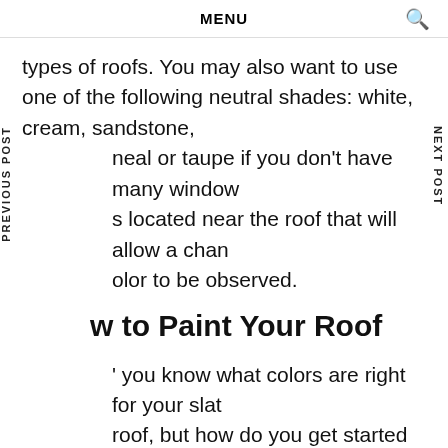MENU
types of roofs. You may also want to use one of the following neutral shades: white, cream, sandstone, heal or taupe if you don't have many windows located near the roof that will allow a change of color to be observed.
w to Paint Your Roof
' you know what colors are right for your slate roof, but how do you get started with painting. The most important thing to do when painting a slate or tile roof is to make sure it's ready for paint. Cleaning and repairing damaged areas before application is just as important as choosing a good